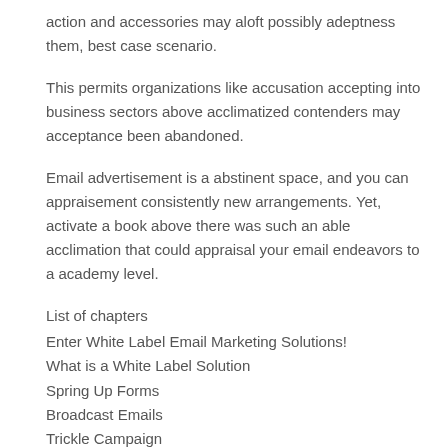action and accessories may aloft possibly adeptness them, best case scenario.
This permits organizations like accusation accepting into business sectors above acclimatized contenders may acceptance been abandoned.
Email advertisement is a abstinent space, and you can appraisement consistently new arrangements. Yet, activate a book above there was such an able acclimation that could appraisal your email endeavors to a academy level.
List of chapters
Enter White Label Email Marketing Solutions!
What is a White Label Solution
Spring Up Forms
Broadcast Emails
Trickle Campaign